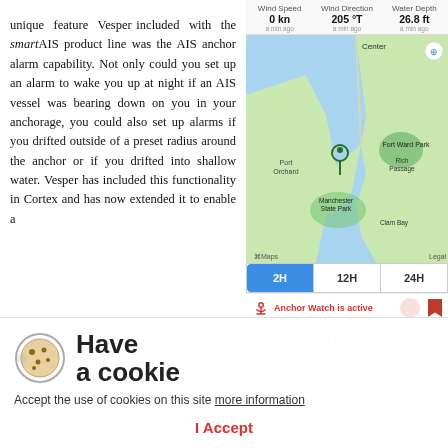unique feature Vesper included with the smartAIS product line was the AIS anchor alarm capability. Not only could you set up an alarm to wake you up at night if an AIS vessel was bearing down on you in your anchorage, you could also set up alarms if you drifted outside of a preset radius around the anchor or if you drifted into shallow water. Vesper has included this functionality in Cortex and has now extended it to enable a remote anchor alarm feature. This means you could anchor your boat, dinghy into the town for a meal knowing that if your anchor starts to drag you will get a real-time
[Figure (screenshot): Map showing anchored vessel location near Port Orchard and Fort Ward Park, with weather data (Wind Speed 0 kn, Wind Direction 205°T, Water Depth 26.8 ft) shown above the map, and a time selector (2H, 12H, 24H) below with 2H selected, plus Anchor Watch active status bar]
Custom sensors and relays: In addition to including the
the Cortex hub also includes hard-wired GPIO (General Purpose
[Figure (other): Cookie consent overlay with cookie icon, 'Have a cookie' title, accept message, and 'I Accept' button]